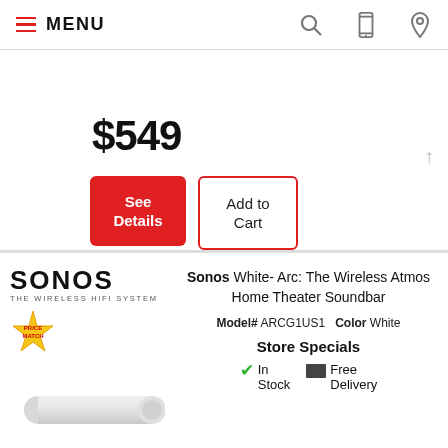MENU
$549
See Details
Add to Cart
[Figure (logo): Sonos - The Wireless HiFi System logo with price match badge and white soundbar product image]
Sonos White- Arc: The Wireless Atmos Home Theater Soundbar
Model# ARCG1US1  Color White
Store Specials
In Stock
Free Delivery